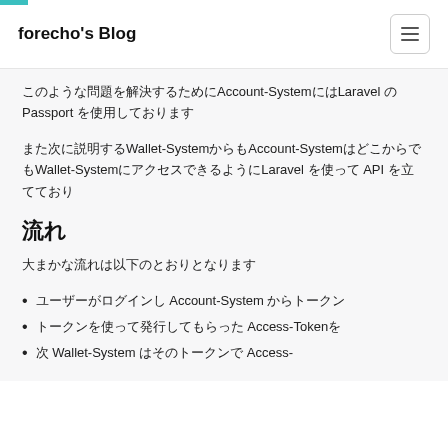forecho's Blog
このような問題を解決するためにAccount-SystemにはLaravel の Passport を使用しております
また次に説明するWallet-Systemからも使えるようAccount-SystemはどこからでもWallet-SystemにアクセスできるようにLaravel を使って API を立て
流れ
大まかな流れは以下のとおりとなります
ユーザーがログインし Account-System からトークン
トークンを使って発行してもらった Access-Tokenを
次 Wallet-System はそのトークンで Access-